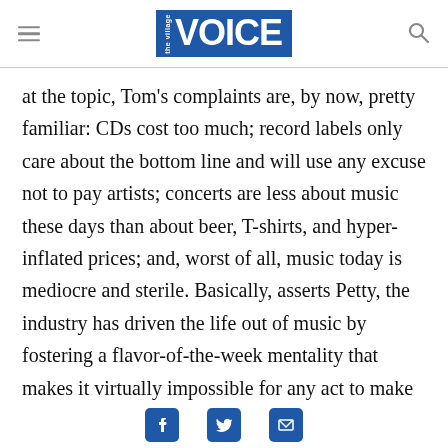Village Voice
at the topic, Tom's complaints are, by now, pretty familiar: CDs cost too much; record labels only care about the bottom line and will use any excuse not to pay artists; concerts are less about music these days than about beer, T-shirts, and hyper-inflated prices; and, worst of all, music today is mediocre and sterile. Basically, asserts Petty, the industry has driven the life out of music by fostering a flavor-of-the-week mentality that makes it virtually impossible for any act to make an impact beyond first-album hype, since by the time that hype has
Social share icons: Facebook, Twitter, Email